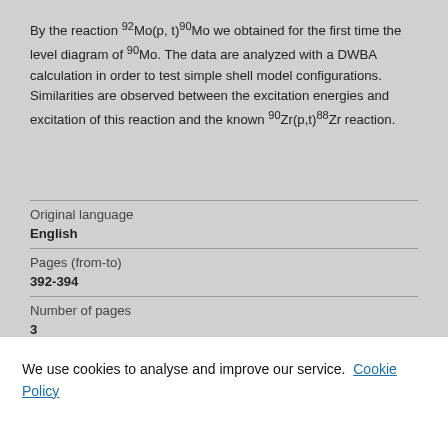By the reaction 92Mo(p, t)90Mo we obtained for the first time the level diagram of 90Mo. The data are analyzed with a DWBA calculation in order to test simple shell model configurations. Similarities are observed between the excitation energies and excitation of this reaction and the known 90Zr(p,t)88Zr reaction.
| Original language | English |
| Pages (from-to) | 392-394 |
| Number of pages | 3 |
| Journal |  |
We use cookies to analyse and improve our service. Cookie Policy